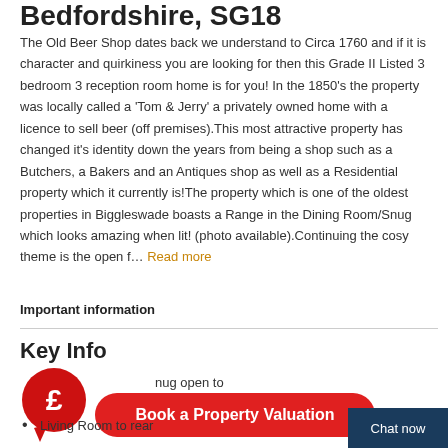Bedfordshire, SG18
The Old Beer Shop dates back we understand to Circa 1760 and if it is character and quirkiness you are looking for then this Grade II Listed 3 bedroom 3 reception room home is for you! In the 1850's the property was locally called a 'Tom & Jerry' a privately owned home with a licence to sell beer (off premises).This most attractive property has changed it's identity down the years from being a shop such as a Butchers, a Bakers and an Antiques shop as well as a Residential property which it currently is!The property which is one of the oldest properties in Biggleswade boasts a Range in the Dining Room/Snug which looks amazing when lit! (photo available).Continuing the cosy theme is the open f… Read more
Important information
Key Info
nug open to
Living Room to rear
[Figure (infographic): Red circular pound sign speech bubble icon for Book a Property Valuation CTA]
Book a Property Valuation
Chat now